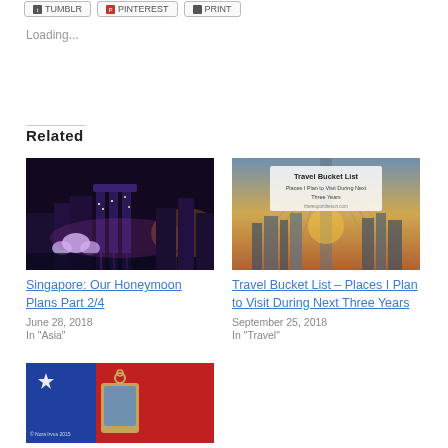Loading...
Related
[Figure (photo): Night cityscape of Singapore Marina Bay Sands with colorful lights reflecting on water]
Singapore: Our Honeymoon Plans Part 2/4
June 28, 2018
In "Asia"
[Figure (photo): Travel Bucket List blog post thumbnail showing Brooklyn Bridge and city skyline at sunset with text overlay]
Travel Bucket List – Places I Plan to Visit During Next Three Years
September 25, 2018
In "Travel"
[Figure (photo): Photo with red and blue background showing a keychain with © Nora Irvus 2015 watermark]